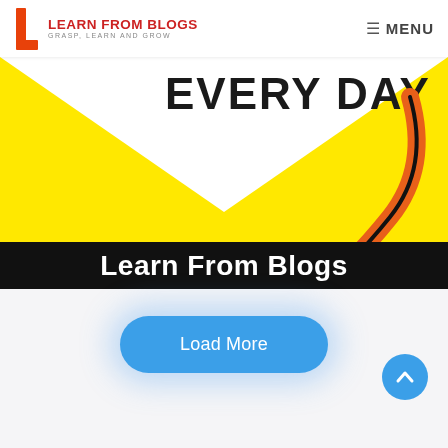LEARN FROM BLOGS — GRASP, LEARN AND GROW | MENU
[Figure (illustration): Website banner image showing yellow background with an envelope shape, bold text 'EVERY DAY' partially visible at top, large orange curved arrow pointing down-left, and black bar at bottom reading 'Learn From Blogs' in white bold text.]
Load More
[Figure (other): Blue circular back-to-top button with white upward chevron arrow, positioned at bottom right.]